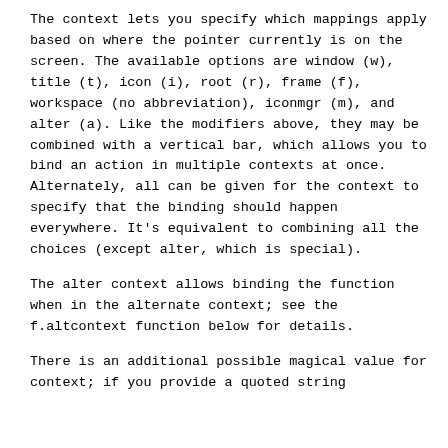The context lets you specify which mappings apply based on where the pointer currently is on the screen. The available options are window (w), title (t), icon (i), root (r), frame (f), workspace (no abbreviation), iconmgr (m), and alter (a). Like the modifiers above, they may be combined with a vertical bar, which allows you to bind an action in multiple contexts at once. Alternately, all can be given for the context to specify that the binding should happen everywhere. It's equivalent to combining all the choices (except alter, which is special).
The alter context allows binding the function when in the alternate context; see the f.altcontext function below for details.
There is an additional possible magical value for context; if you provide a quoted string